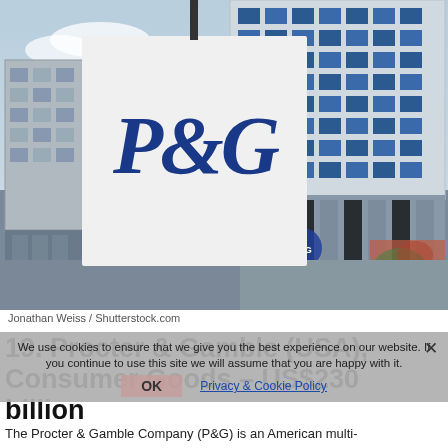[Figure (photo): Photograph of a large white P&G (Procter & Gamble) sign/monolith in front of a modern building, with a city background. Blue P&G logo on white rectangular sign.]
Jonathan Weiss / Shutterstock.com
We use cookies to ensure that we give you the best experience on our website. If you continue to use this site we will assume that you are happy with it.
19. Procter & Gamble (USA), Consumer Goods – US$230 billion
The Procter & Gamble Company (P&G) is an American multi-